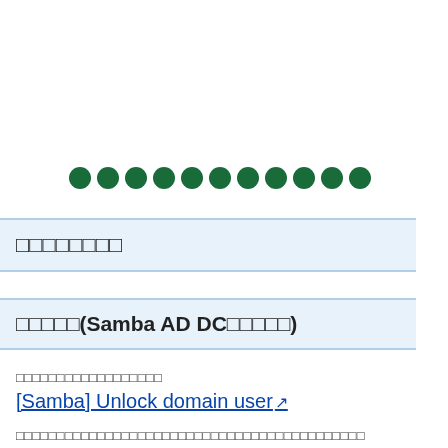[Figure (other): Row of 12 dark green filled dots (password masking dots)]
□□□□□□□□
□□□□□(Samba AD DC□□□□□)
□□□□□□□□□□□□□□□□□□
[Samba] Unlock domain user ↗
□□□□□□□□□□□□□□□□□□□□□□□□□□□□□□□□□□□□□□□□□□□